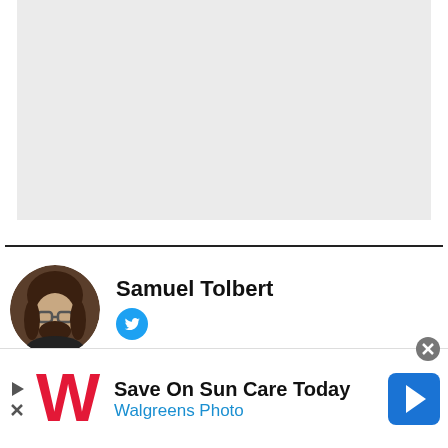[Figure (photo): Gray placeholder rectangle representing an image or advertisement area at the top of the page]
Samuel Tolbert
[Figure (logo): Twitter bird icon in blue circle]
[Figure (photo): Walgreens advertisement banner: Save On Sun Care Today, Walgreens Photo, with Walgreens W logo and navigation arrow icon]